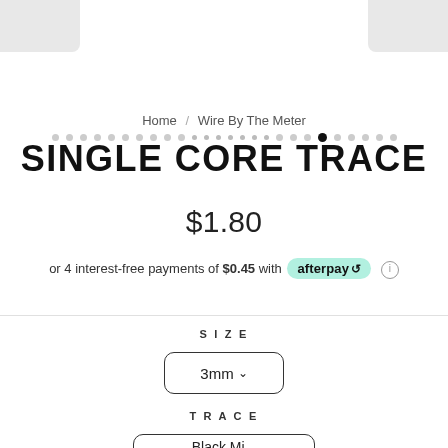[Figure (other): Top navigation bar with grey panels on left and right, and a row of pagination dots below]
Home / Wire By The Meter
SINGLE CORE TRACE
$1.80
or 4 interest-free payments of $0.45 with afterpay
SIZE
3mm
TRACE